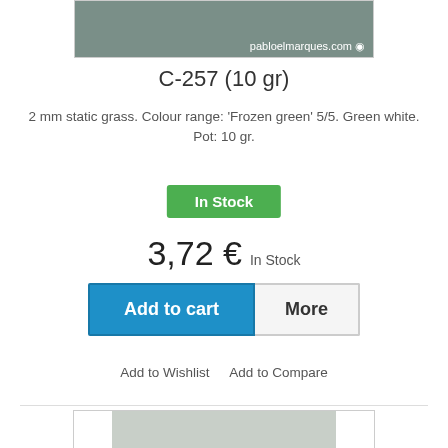[Figure (photo): Product image of static grass, top portion visible with pabloelmarques.com watermark]
C-257 (10 gr)
2 mm static grass. Colour range: 'Frozen green' 5/5. Green white. Pot: 10 gr.
In Stock
3,72 € In Stock
Add to cart   More
Add to Wishlist   Add to Compare
[Figure (photo): Product image of static grass, bottom portion showing light green/white grass material]